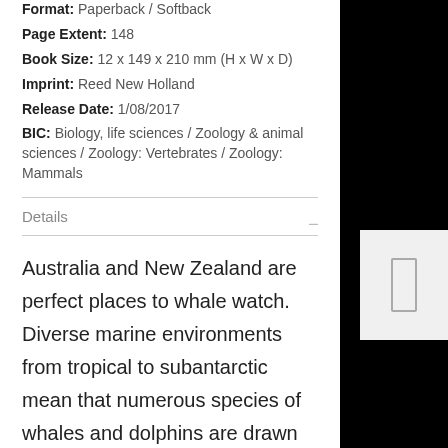Format: Paperback / Softback
Page Extent: 148
Book Size: 12 x 149 x 210 mm (H x W x D)
Imprint: Reed New Holland
Release Date: 1/08/2017
BIC: Biology, life sciences / Zoology & animal sciences / Zoology: Vertebrates / Zoology: Mammals
Details
Australia and New Zealand are perfect places to whale watch. Diverse marine environments from tropical to subantarctic mean that numerous species of whales and dolphins are drawn to our waters, while a plethora of tour operators makes it easier than